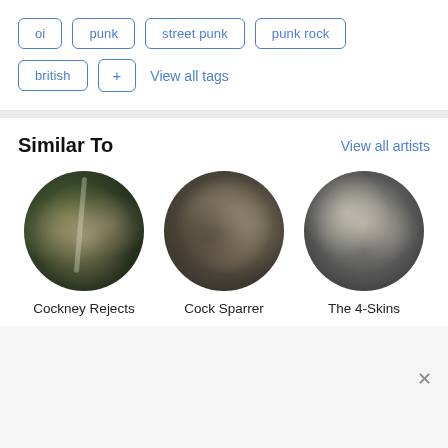oi
punk
street punk
punk rock
british
+ View all tags
Similar To
View all artists
[Figure (photo): Circular photo of Cockney Rejects band members]
Cockney Rejects
[Figure (photo): Circular black and white photo of Cock Sparrer band members]
Cock Sparrer
[Figure (photo): Circular black and white photo of The 4-Skins performing on stage]
The 4-Skins